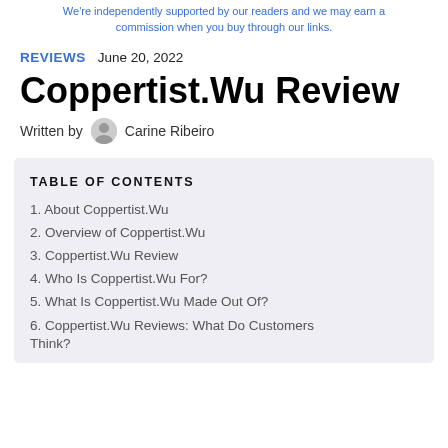We're independently supported by our readers and we may earn a commission when you buy through our links.
REVIEWS   June 20, 2022
Coppertist.Wu Review
Written by  Carine Ribeiro
TABLE OF CONTENTS
1. About Coppertist.Wu
2. Overview of Coppertist.Wu
3. Coppertist.Wu Review
4. Who Is Coppertist.Wu For?
5. What Is Coppertist.Wu Made Out Of?
6. Coppertist.Wu Reviews: What Do Customers Think?